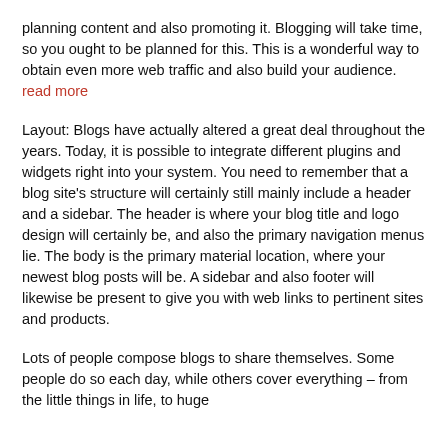planning content and also promoting it. Blogging will take time, so you ought to be planned for this. This is a wonderful way to obtain even more web traffic and also build your audience. read more
Layout: Blogs have actually altered a great deal throughout the years. Today, it is possible to integrate different plugins and widgets right into your system. You need to remember that a blog site's structure will certainly still mainly include a header and a sidebar. The header is where your blog title and logo design will certainly be, and also the primary navigation menus lie. The body is the primary material location, where your newest blog posts will be. A sidebar and also footer will likewise be present to give you with web links to pertinent sites and products.
Lots of people compose blogs to share themselves. Some people do so each day, while others cover everything – from the little things in life, to huge